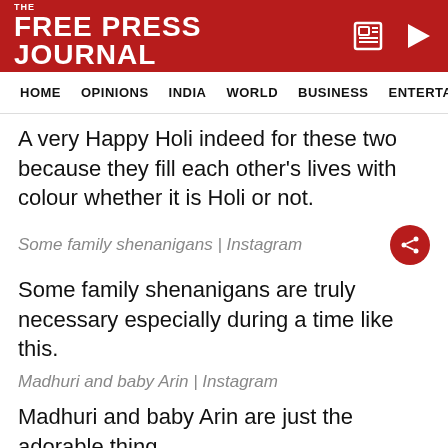THE FREE PRESS JOURNAL
HOME  OPINIONS  INDIA  WORLD  BUSINESS  ENTERTAIN
A very Happy Holi indeed for these two because they fill each other's lives with colour whether it is Holi or not.
Some family shenanigans | Instagram
Some family shenanigans are truly necessary especially during a time like this.
Madhuri and baby Arin | Instagram
Madhuri and baby Arin are just the adorable thing
ADVERTISEMENT